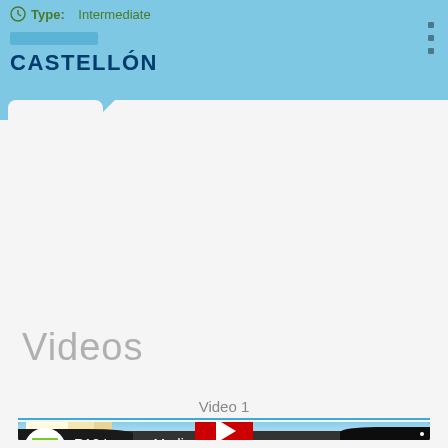Type: Intermediate
CASTELLÓN
Videos
Video 1
[Figure (screenshot): YouTube video thumbnail for 'R12 Lucena Medio' showing cyclists in front of a church tower in a Spanish town, with a red YouTube play button overlay and Castellón channel logo.]